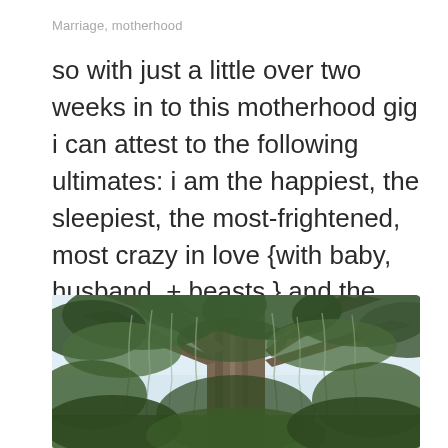Marriage, motherhood
so with just a little over two weeks in to this motherhood gig i can attest to the following ultimates: i am the happiest, the sleepiest, the most-frightened, most crazy in love {with baby, husband, + beasts,} and the most fulfilled of my entire life. we're on...
[Figure (photo): A large tree with sprawling branches draped in Spanish moss, photographed from below looking up, with lush green foliage and a pale sky visible through the canopy.]